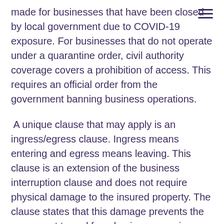made for businesses that have been closed by local government due to COVID-19 exposure. For businesses that do not operate under a quarantine order, civil authority coverage covers a prohibition of access. This requires an official order from the government banning business operations.
A unique clause that may apply is an ingress/egress clause. Ingress means entering and egress means leaving. This clause is an extension of the business interruption clause and does not require physical damage to the insured property. The clause states that this damage prevents the movement to and from business premises. Some examples include the prohibition of